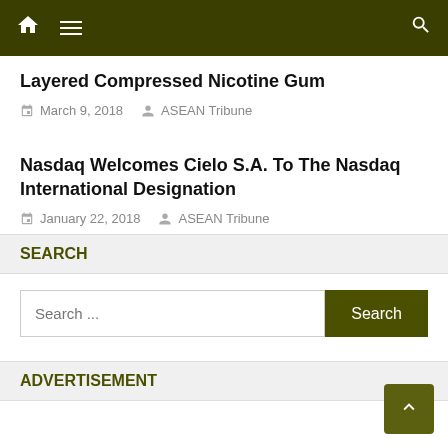Navigation bar with home, menu, and search icons
Layered Compressed Nicotine Gum
March 9, 2018  ASEAN Tribune
Nasdaq Welcomes Cielo S.A. To The Nasdaq International Designation
January 22, 2018  ASEAN Tribune
SEARCH
Search ...
ADVERTISEMENT